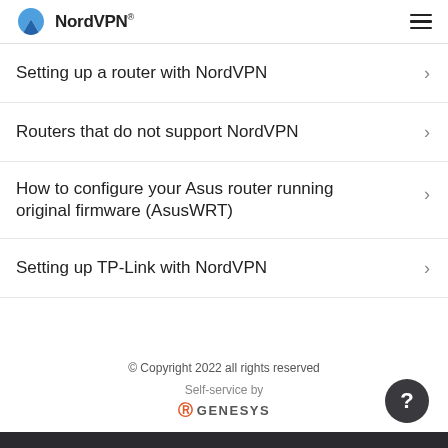NordVPN®
Setting up a router with NordVPN
Routers that do not support NordVPN
How to configure your Asus router running original firmware (AsusWRT)
Setting up TP-Link with NordVPN
© Copyright 2022 all rights reserved
Self-service by
GENESYS